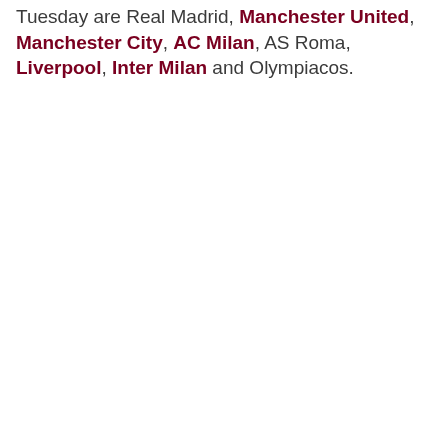Tuesday are Real Madrid, Manchester United, Manchester City, AC Milan, AS Roma, Liverpool, Inter Milan and Olympiacos.